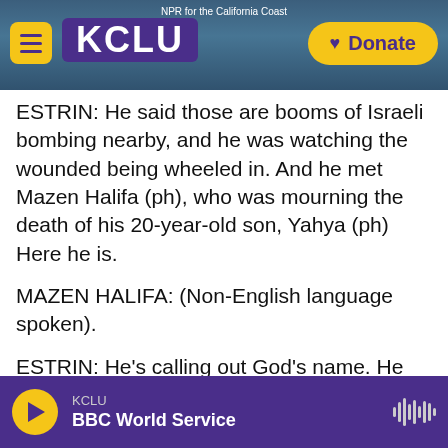KCLU | NPR for the California Coast | Donate
ESTRIN: He said those are booms of Israeli bombing nearby, and he was watching the wounded being wheeled in. And he met Mazen Halifa (ph), who was mourning the death of his 20-year-old son, Yahya (ph) Here he is.
MAZEN HALIFA: (Non-English language spoken).
ESTRIN: He's calling out God's name. He says, what are they doing with the children? And he tells us that his son was on his way to the supermarket to get groceries and sweets for the Muslim Eid holiday, which is tomorrow. And on his way, an Israeli airstrike hit the car in front of him. And he
KCLU | BBC World Service